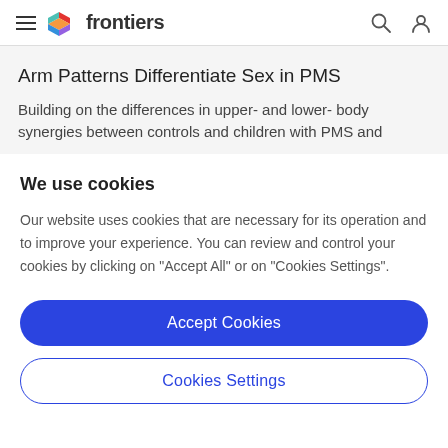frontiers
Arm Patterns Differentiate Sex in PMS
Building on the differences in upper- and lower- body synergies between controls and children with PMS and
We use cookies
Our website uses cookies that are necessary for its operation and to improve your experience. You can review and control your cookies by clicking on "Accept All" or on "Cookies Settings".
Accept Cookies
Cookies Settings